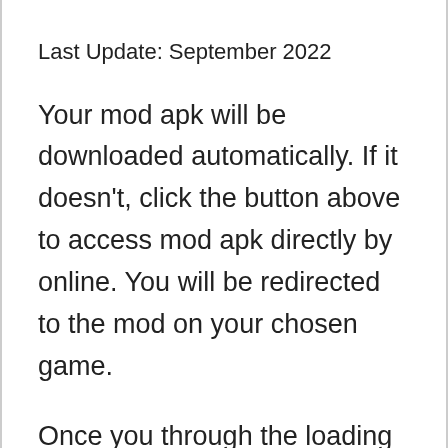Last Update: September 2022
Your mod apk will be downloaded automatically. If it doesn't, click the button above to access mod apk directly by online. You will be redirected to the mod on your chosen game.
Once you through the loading screen, you will go to the main page. For the first time, you need to insert the application key in order to